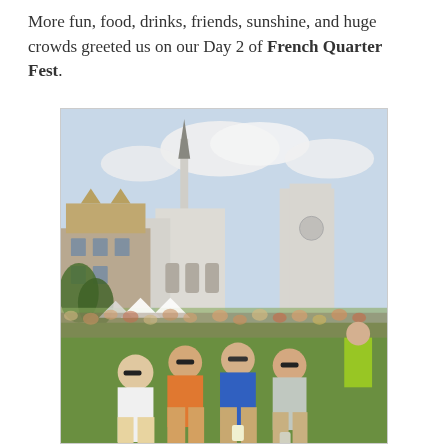More fun, food, drinks, friends, sunshine, and huge crowds greeted us on our Day 2 of French Quarter Fest.
[Figure (photo): Outdoor photo at French Quarter Fest showing a group of four young men sitting on grass in the foreground wearing sunglasses, with a large crowd behind them and Saint Louis Cathedral and historic buildings visible in the background under a partly cloudy sky. Festival tents are visible in the middle ground.]